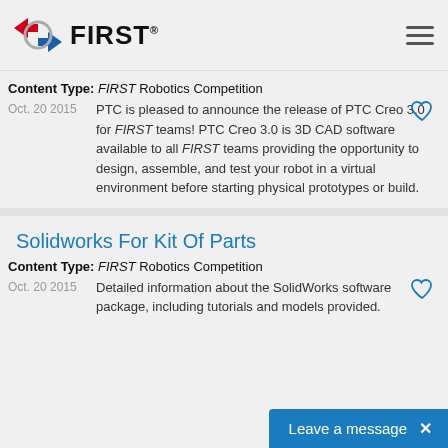FIRST (logo and navigation header)
Content Type: FIRST Robotics Competition
Oct. 20 2015  PTC is pleased to announce the release of PTC Creo 3.0 for FIRST teams! PTC Creo 3.0 is 3D CAD software available to all FIRST teams providing the opportunity to design, assemble, and test your robot in a virtual environment before starting physical prototypes or build.
Solidworks For Kit Of Parts
Content Type: FIRST Robotics Competition
Oct. 20 2015  Detailed information about the SolidWorks software package, including tutorials and models provided.